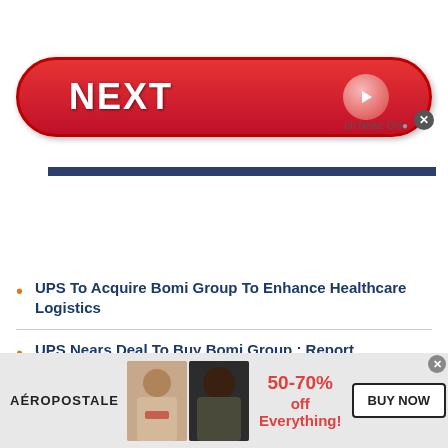[Figure (other): Red NEXT button advertisement with arrow, on Newz Online label]
RELATED NEWS
UPS To Acquire Bomi Group To Enhance Healthcare Logistics
UPS Nears Deal To Buy Bomi Group : Report
UPS Q2 Earnings Improve
[Figure (other): Aéropostale advertisement banner: 50-70% off Everything! BUY NOW]